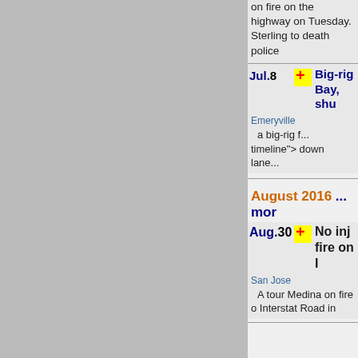on fire on the highway on Tuesday. Sterling ... to death police
Jul.8 — Big-rig ... Bay, shu...
Emeryville ... a big-rig f... timeline"> ... down lane...
August 2016 ... mo...
Aug.30 — No inj... fire on ...
San Jose — A tour Medina on fire o... Interstat... Road in...